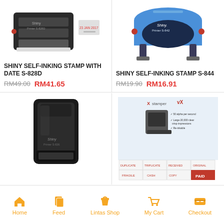[Figure (photo): Shiny self-inking stamp with date S-828D product photo showing black stamp and date impression]
SHINY SELF-INKING STAMP WITH DATE S-828D
RM49.00  RM41.65
[Figure (photo): Shiny self-inking stamp S-844 product photo showing blue stamp body]
SHINY SELF-INKING STAMP S-844
RM19.90  RM16.91
[Figure (photo): Shiny self-inking stamp product photo showing black rectangular stamp]
[Figure (photo): Xstamper vX product photo showing stamp and various impression options]
Home  Feed  Lintas Shop  My Cart  Checkout